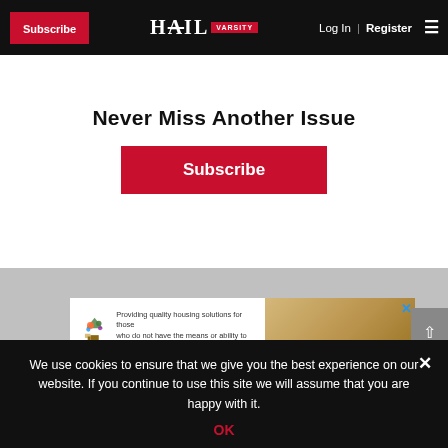Subscribe | HAIL VARSITY | Log In | Register
Never Miss Another Issue
Subscribe
[Figure (screenshot): Advertisement banner for Giving Tree Housing: 'Providing quality housing solutions for those who do not have the means or ability to get help on their own. Click Now to Learn How YOU Can Make a Difference!']
We use cookies to ensure that we give you the best experience on our website. If you continue to use this site we will assume that you are happy with it.
OK